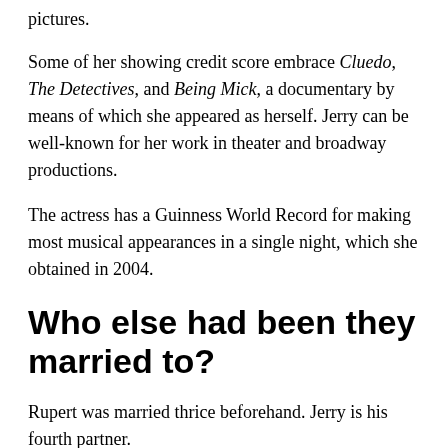pictures.
Some of her showing credit score embrace Cluedo, The Detectives, and Being Mick, a documentary by means of which she appeared as herself. Jerry can be well-known for her work in theater and broadway productions.
The actress has a Guinness World Record for making most musical appearances in a single night, which she obtained in 2004.
Who else had been they married to?
Rupert was married thrice beforehand. Jerry is his fourth partner.
He was married to Patricia Booker from 1956 to 1967, Anna Maria Tory from 1967 to 1999, and Wendi Deng…